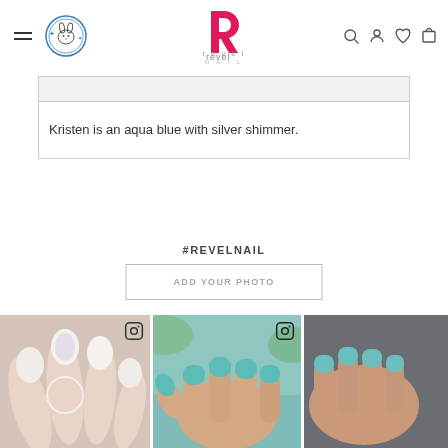Revel Nail website navigation header with hamburger menu, cruelty-free logo, Revel Nail logo, search, account, wishlist, and cart icons
Kristen is an aqua blue with silver shimmer.
#REVELNAIL
ADD YOUR PHOTO
[Figure (photo): Close-up photo of hand with white/light pink nail polish with Instagram icon overlay]
[Figure (photo): Close-up photo of hand with teal/aqua blue nail polish with Instagram icon overlay]
[Figure (photo): Partial close-up photo of hand with teal/aqua nail polish, cropped on right edge]